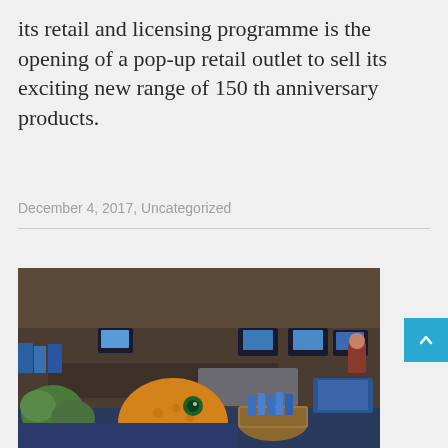its retail and licensing programme is the opening of a pop-up retail outlet to sell its exciting new range of 150 th anniversary products.
December 4, 2017, Uncategorized
[Figure (photo): Interior of a souvenir/gift shop showing merchandise displays, monitors/screens in the background, and in the foreground a large stuffed yellow octopus toy on a wooden table, with green plush toys and a wicker basket filled with blue items.]